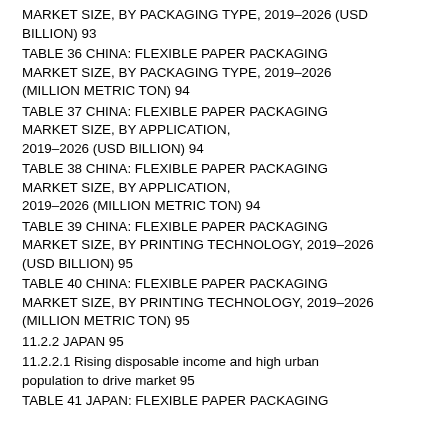MARKET SIZE, BY PACKAGING TYPE, 2019–2026 (USD BILLION) 93
TABLE 36 CHINA: FLEXIBLE PAPER PACKAGING MARKET SIZE, BY PACKAGING TYPE, 2019–2026 (MILLION METRIC TON) 94
TABLE 37 CHINA: FLEXIBLE PAPER PACKAGING MARKET SIZE, BY APPLICATION, 2019–2026 (USD BILLION) 94
TABLE 38 CHINA: FLEXIBLE PAPER PACKAGING MARKET SIZE, BY APPLICATION, 2019–2026 (MILLION METRIC TON) 94
TABLE 39 CHINA: FLEXIBLE PAPER PACKAGING MARKET SIZE, BY PRINTING TECHNOLOGY, 2019–2026 (USD BILLION) 95
TABLE 40 CHINA: FLEXIBLE PAPER PACKAGING MARKET SIZE, BY PRINTING TECHNOLOGY, 2019–2026 (MILLION METRIC TON) 95
11.2.2 JAPAN 95
11.2.2.1 Rising disposable income and high urban population to drive market 95
TABLE 41 JAPAN: FLEXIBLE PAPER PACKAGING